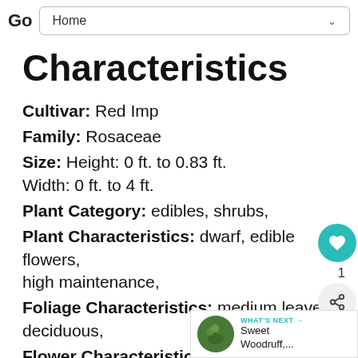Go Home
Characteristics
Cultivar: Red Imp
Family: Rosaceae
Size: Height: 0 ft. to 0.83 ft. Width: 0 ft. to 4 ft.
Plant Category: edibles, shrubs,
Plant Characteristics: dwarf, edible flowers, high maintenance,
Foliage Characteristics: medium leaves, deciduous,
Flower Characteristics: double, er... fragrant, showy,
Flower Color: reds,